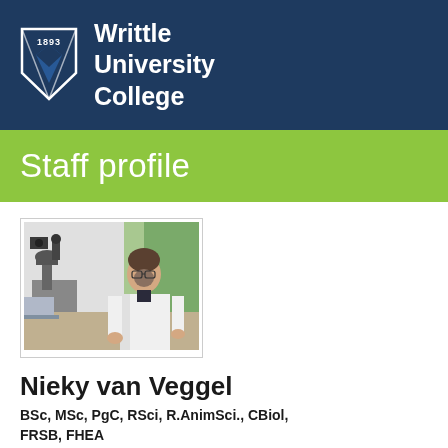[Figure (logo): Writtle University College logo with shield emblem and college name on dark navy background]
Staff profile
[Figure (photo): Photo of Nieky van Veggel in a white lab coat seated at a desk with a microscope in a laboratory setting]
Nieky van Veggel
BSc, MSc, PgC, RSci, R.AnimSci., CBiol, FRSB, FHEA
Role